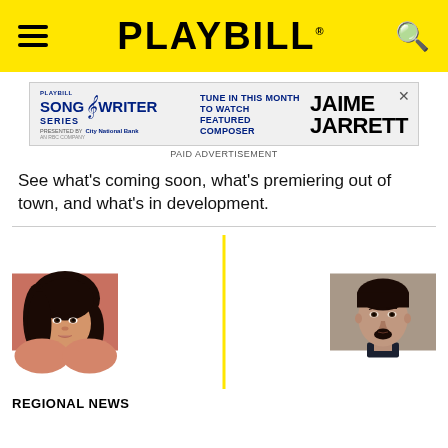PLAYBILL
[Figure (infographic): Playbill Songwriter Series advertisement featuring Jaime Jarrett as featured composer, presented by City National Bank. Text reads: TUNE IN THIS MONTH TO WATCH FEATURED COMPOSER JAIME JARRETT. PAID ADVERTISEMENT.]
See what's coming soon, what's premiering out of town, and what's in development.
[Figure (photo): Two headshot photos side by side separated by a yellow vertical divider. Left: a young woman with long dark hair against a pink/coral background. Right: a man with short dark hair, goatee, wearing a dark shirt against a grey background.]
REGIONAL NEWS